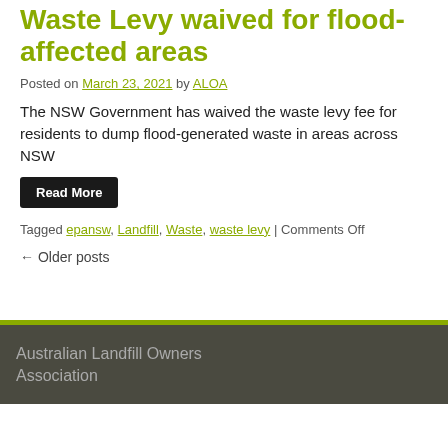Waste Levy waived for flood-affected areas
Posted on March 23, 2021 by ALOA
The NSW Government has waived the waste levy fee for residents to dump flood-generated waste in areas across NSW
Read More
Tagged epansw, Landfill, Waste, waste levy | Comments Off
← Older posts
Australian Landfill Owners Association